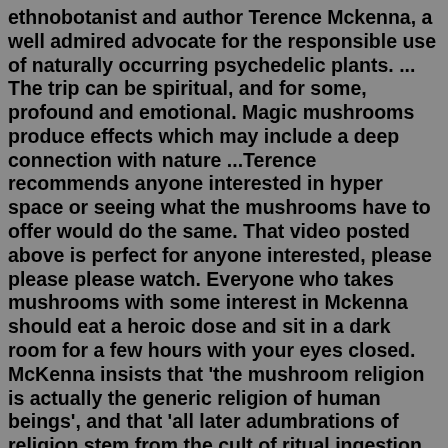ethnobotanist and author Terence Mckenna, a well admired advocate for the responsible use of naturally occurring psychedelic plants. ... The trip can be spiritual, and for some, profound and emotional. Magic mushrooms produce effects which may include a deep connection with nature ...Terence recommends anyone interested in hyper space or seeing what the mushrooms have to offer would do the same. That video posted above is perfect for anyone interested, please please please watch. Everyone who takes mushrooms with some interest in Mckenna should eat a heroic dose and sit in a dark room for a few hours with your eyes closed. McKenna insists that 'the mushroom religion is actually the generic religion of human beings', and that 'all later adumbrations of religion stem from the cult of ritual ingestion of mushrooms to induce ecstasy'. Elsewhere he makes even more vehement claims for the ontological implications of the experiences offered by other plant ...Don't always stay on the same floor! Go upstairs, go downstairs; visit the lives of other tenants! Visit